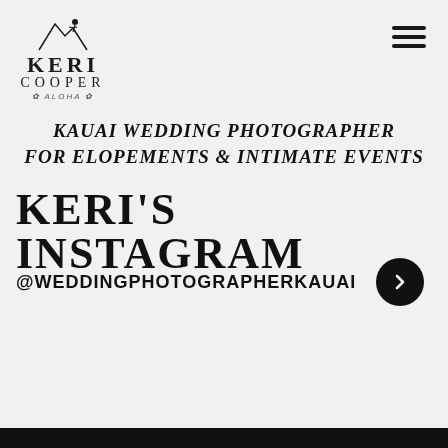[Figure (logo): Keri Cooper Aloha logo with surfer icon, text KERI COOPER ALOHA]
[Figure (other): Hamburger menu icon (three horizontal lines) in top right]
KAUAI WEDDING PHOTOGRAPHER FOR ELOPEMENTS & INTIMATE EVENTS
KERI'S INSTAGRAM
@WEDDINGPHOTOGRAPHERKAUAI